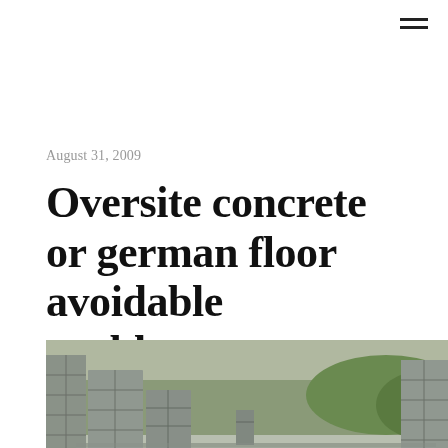≡ (menu icon)
August 31, 2009
Oversite concrete or german floor avoidable problems
[Figure (photo): Photograph of a construction site showing oversite concrete slab poured inside block walls, with stacked concrete blocks around the perimeter and green shrubs visible in the background.]